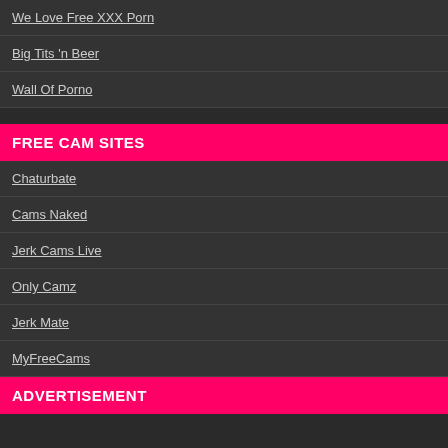We Love Free XXX Porn
Big Tits 'n Beer
Wall Of Porno
FREE CAM SITES
Chaturbate
Cams Naked
Jerk Cams Live
Only Camz
Jerk Mate
MyFreeCams
ADVERTISEMENT